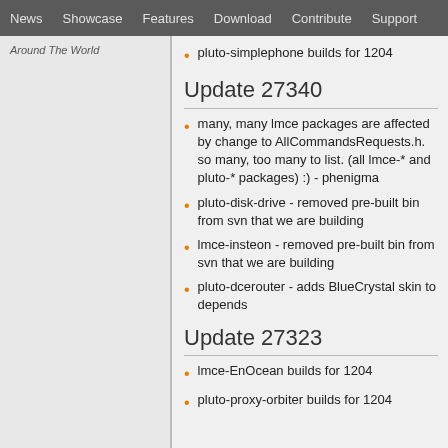News | Showcase | Features | Download | Contribute | Support
Around The World
pluto-simplephone builds for 1204
Update 27340
many, many lmce packages are affected by change to AllCommandsRequests.h. so many, too many to list. (all lmce-* and pluto-* packages) :) - phenigma
pluto-disk-drive - removed pre-built bin from svn that we are building
lmce-insteon - removed pre-built bin from svn that we are building
pluto-dcerouter - adds BlueCrystal skin to depends
Update 27323
lmce-EnOcean builds for 1204
pluto-proxy-orbiter builds for 1204